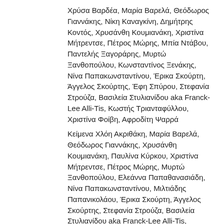Χρύσα Βαρδέα, Μαρία Βαρελά, Θεόδωρος Γιαννάκης, Νίκη Καναγκίνη, Δημήτρης Κοντός, Χρυσάνθη Κουμιανάκη, Χριστίνα Μήτρεντσε, Πέτρος Μώρης, Μπία Ντάβου, Παντελής Ξαγοράρης, Μυρτώ Ξανθοπούλου, Κωνσταντίνος Ξενάκης, Νίνα Παπακωνσταντίνου, Έρικα Σκούρτη, Άγγελος Σκούρτης, Έφη Σπύρου, Στεφανία Στρούζα, Βασιλεία Στυλιανίδου aka Franck-Lee Alli-Tis, Κωστής Τριανταφύλλου, Χριστίνα Φοίβη, Αφροδίτη Ψαρρά
Κείμενα Χλόη Ακριθάκη, Μαρία Βαρελά, Θεόδωρος Γιαννάκης, Χρυσάνθη Κουμιανάκη, Παυλίνα Κύρκου, Χριστίνα Μήτρεντσε, Πέτρος Μώρης, Μυρτώ Ξανθοπούλου, Ελεάννα Παπαθανασιάδη, Νίνα Παπακωνσταντίνου, Μιλτιάδης Παπανικολάου, Έρικα Σκούρτη, Άγγελος Σκούρτης, Στεφανία Στρούζα, Βασιλεία Στυλιανίδου aka Franck-Lee Alli-Tis, Κωστής Τριανταφύλλου, Χριστίνα Φοίβη, Έλενα Χαμαλίδη, Κλέα Χαρίτου, Αφροδίτη Ψαρρά
Συντονισμός miss dialectic (Ελεάννα Παπαθανασιάδη, Κλέα Χαρίτου)